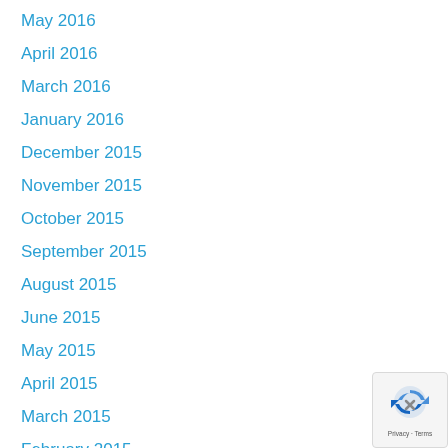May 2016
April 2016
March 2016
January 2016
December 2015
November 2015
October 2015
September 2015
August 2015
June 2015
May 2015
April 2015
March 2015
February 2015
January 2015
December 2014
November 2014
October 2014
[Figure (logo): reCAPTCHA badge with Privacy and Terms links]